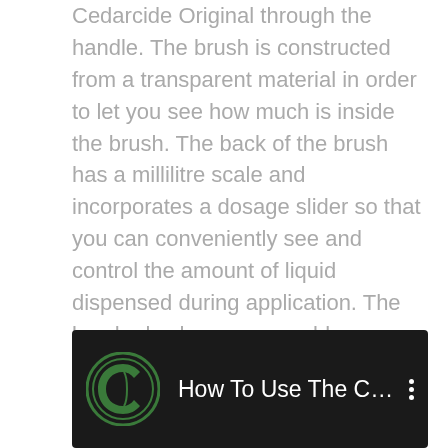Cedarcide Original through the handle. The brush is constructed from a transparent material in order to let you see how much is inside the brush. The back of the brush has a millilitre scale and incorporates a dosage slider so that you can conveniently see and control the amount of liquid dispensed during application. The brush also has a removable cover over the bristles to prevent evaporation of the solution when the brush is not in use.

Cedarcide Original contains no SLS- Sodium Lauryl Sulfate or Parabens.
[Figure (screenshot): YouTube video thumbnail showing 'How To Use The Cedarcide Flea...' with Cedarcide logo on dark background]